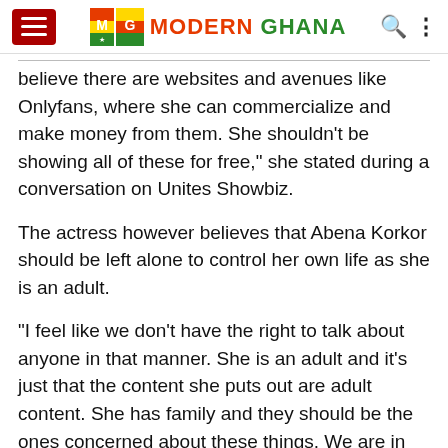MG MODERN GHANA
believe there are websites and avenues like Onlyfans, where she can commercialize and make money from them. She shouldn’t be showing all of these for free,” she stated during a conversation on Unites Showbiz.
The actress however believes that Abena Korkor should be left alone to control her own life as she is an adult.
“I feel like we don’t have the right to talk about anyone in that manner. She is an adult and it’s just that the content she puts out are adult content. She has family and they should be the ones concerned about these things. We are in no position to judge her,” she added.